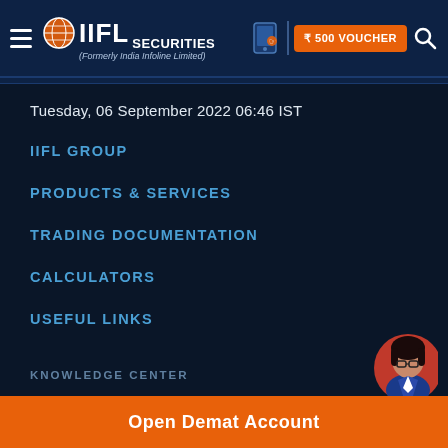IIFL Securities (Formerly India Infoline Limited) | ₹500 VOUCHER
Tuesday, 06 September 2022 06:46 IST
IIFL GROUP
PRODUCTS & SERVICES
TRADING DOCUMENTATION
CALCULATORS
USEFUL LINKS
KNOWLEDGE CENTER
Open Demat Account